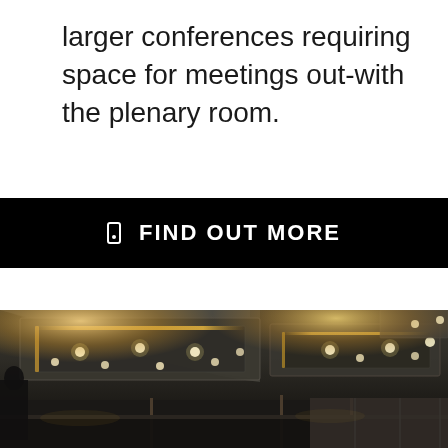larger conferences requiring space for meetings out-with the plenary room.
[Figure (other): Black button/call-to-action with phone icon and text 'FIND OUT MORE']
[Figure (photo): Interior photo of a modern conference or event venue ceiling with recessed lighting, geometric ceiling panels with warm LED accent lighting, and glass partition walls visible in the background.]